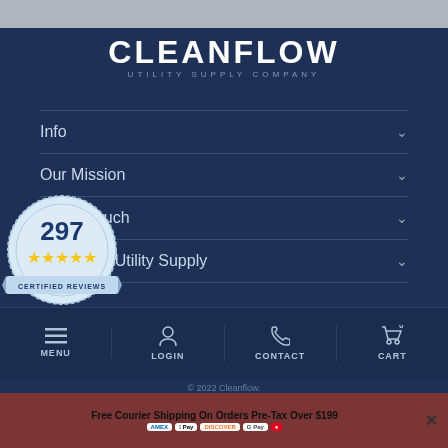[Figure (logo): Cleanflow Utility Supply Company logo — white bold uppercase CLEANFLOW text with smaller grey spaced subtitle 'UTILITY SUPPLY COMPANY']
Info
Our Mission
Get in Touch
Cleanflow Utility Supply
[Figure (other): Badge showing 297 with 5 stars and text 'CERTIFIED REVIEWS', Powered by YOTPO]
USD currency selector with US flag
MENU | LOGIN | CONTACT | CART (0)
© 2022 Cleanflow.
Free Courier Shipping On Orders Pre-Tax Over $199
AMEX | Apple Pay | DISCOVER | G Pay | Mastercard